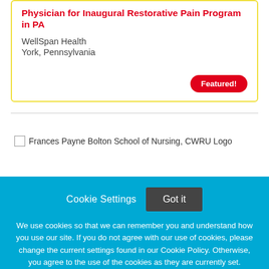Physician for Inaugural Restorative Pain Program in PA
WellSpan Health
York, Pennsylvania
Featured!
[Figure (logo): Frances Payne Bolton School of Nursing, CWRU Logo]
Cookie Settings   Got it
We use cookies so that we can remember you and understand how you use our site. If you do not agree with our use of cookies, please change the current settings found in our Cookie Policy. Otherwise, you agree to the use of the cookies as they are currently set.